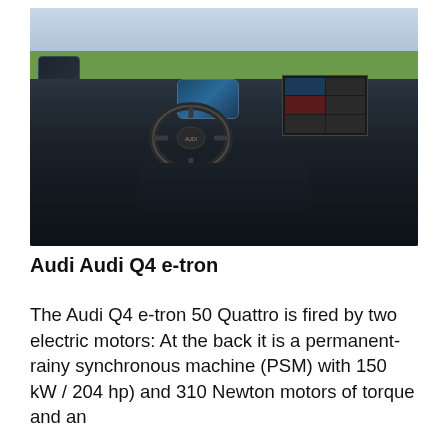[Figure (photo): Interior photo of an Audi Q4 e-tron showing the driver's cockpit with steering wheel, digital instrument cluster, large central infotainment touchscreen, side mirror, and center console. Green landscape and sky visible through the windshield in the background.]
Audi Audi Q4 e-tron
The Audi Q4 e-tron 50 Quattro is fired by two electric motors: At the back it is a permanent-rainy synchronous machine (PSM) with 150 kW / 204 hp) and 310 Newton motors of torque and an